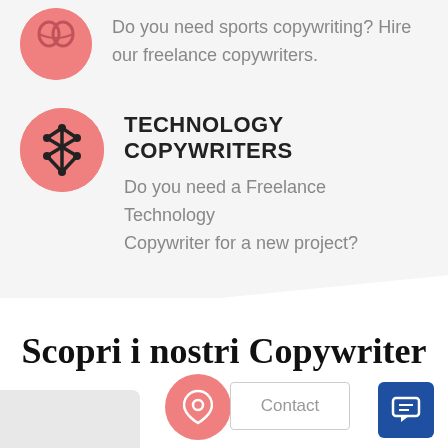[Figure (illustration): Pink circle icon with sports/copywriting symbol at top left (partially visible)]
Do you need sports copywriting? Hire our freelance copywriters.
[Figure (logo): Pink circle icon with Bluetooth-like symbol for Technology Copywriters]
TECHNOLOGY COPYWRITERS
Do you need a Freelance Technology Copywriter for a new project?
Scopri i nostri Copywriter
[Figure (illustration): Pink circle button with map pin icon, Contact button, and blue chat button at bottom of page]